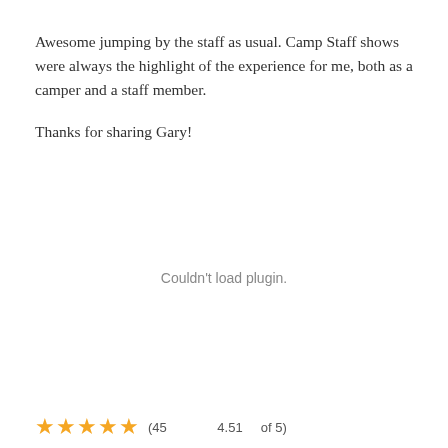Awesome jumping by the staff as usual. Camp Staff shows were always the highlight of the experience for me, both as a camper and a staff member.

Thanks for sharing Gary!
Couldn't load plugin.
(45 reviews, 4.51 out of 5)